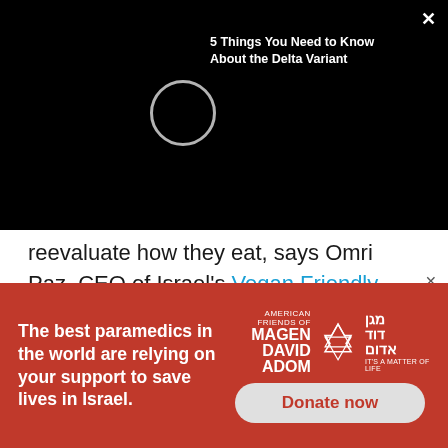[Figure (screenshot): Black video player overlay with loading spinner circle and popup label '5 Things You Need to Know About the Delta Variant' with close X button in top right]
reevaluate how they eat, says Omri Paz, CEO of Israel's Vegan Friendly organization.
He points out that diseases including Covid and AIDS are thought to have origins in infected animals that were eaten by humans.
“A major change in our consumption patterns is
[Figure (screenshot): Red advertisement banner for American Friends of Magen David Adom with text 'The best paramedics in the world are relying on your support to save lives in Israel.' and a Donate now button]